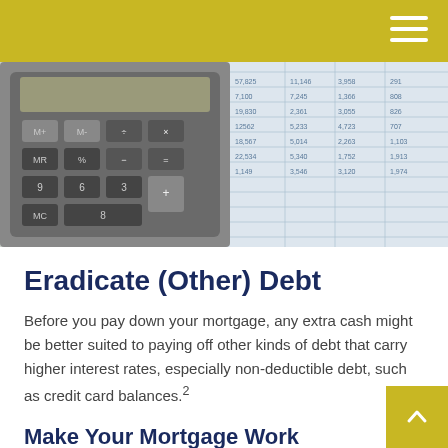[Figure (photo): Photo of a calculator next to financial spreadsheet documents with numbers, and house keys visible in the background.]
Eradicate (Other) Debt
Before you pay down your mortgage, any extra cash might be better suited to paying off other kinds of debt that carry higher interest rates, especially non-deductible debt, such as credit card balances.²
Make Your Mortgage Work
Some homeowners benefit from a mortgage interest deduction on their taxes. Here's how it works: the amount you pay in mortgage interest is deducted from your gross